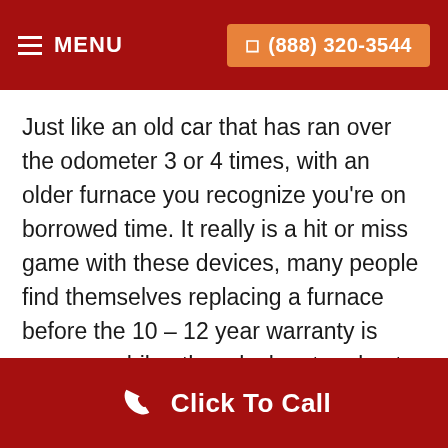MENU  (888) 320-3544
Just like an old car that has ran over the odometer 3 or 4 times, with an older furnace you recognize you're on borrowed time. It really is a hit or miss game with these devices, many people find themselves replacing a furnace before the 10 – 12 year warranty is even up while others luck out and get effective production even on year 20. It's said that the lifetime of a furnace on average is between 16 and 20 years and even with careless maintenance a replacement can be in the future the
Click To Call